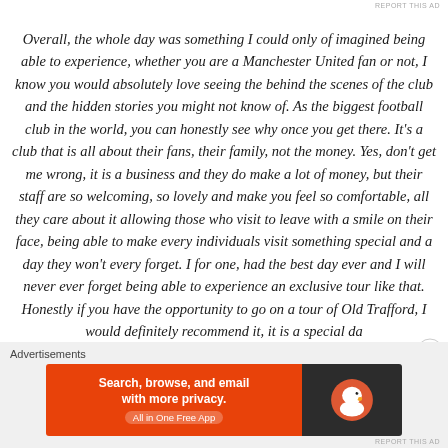REPORT THIS AD
Overall, the whole day was something I could only of imagined being able to experience, whether you are a Manchester United fan or not, I know you would absolutely love seeing the behind the scenes of the club and the hidden stories you might not know of. As the biggest football club in the world, you can honestly see why once you get there. It's a club that is all about their fans, their family, not the money. Yes, don't get me wrong, it is a business and they do make a lot of money, but their staff are so welcoming, so lovely and make you feel so comfortable, all they care about it allowing those who visit to leave with a smile on their face, being able to make every individuals visit something special and a day they won't every forget. I for one, had the best day ever and I will never ever forget being able to experience an exclusive tour like that. Honestly if you have the opportunity to go on a tour of Old Trafford, I would definitely recommend it, it is a special da
Advertisements
[Figure (other): DuckDuckGo advertisement banner: orange left side with text 'Search, browse, and email with more privacy. All in One Free App' and dark right side with DuckDuckGo duck logo]
REPORT THIS AD